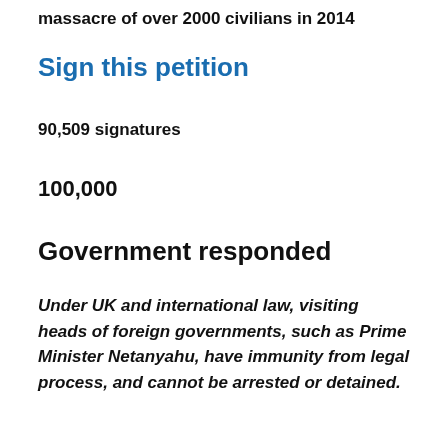massacre of over 2000 civilians in 2014
Sign this petition
90,509 signatures
100,000
Government responded
Under UK and international law, visiting heads of foreign governments, such as Prime Minister Netanyahu, have immunity from legal process, and cannot be arrested or detained.